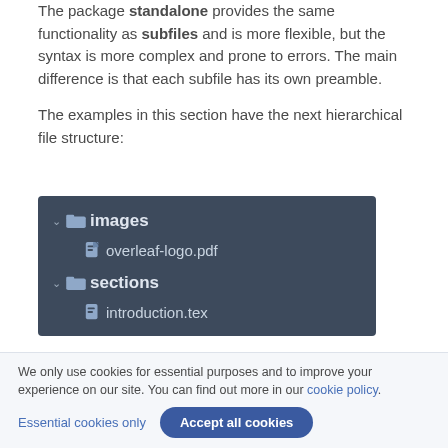The package standalone provides the same functionality as subfiles and is more flexible, but the syntax is more complex and prone to errors. The main difference is that each subfile has its own preamble.
The examples in this section have the next hierarchical file structure:
[Figure (screenshot): A file tree panel showing: folder 'images' expanded with file 'overleaf-logo.pdf', and folder 'sections' expanded with file 'introduction.tex', on a dark blue-grey background.]
We only use cookies for essential purposes and to improve your experience on our site. You can find out more in our cookie policy.
Essential cookies only   Accept all cookies